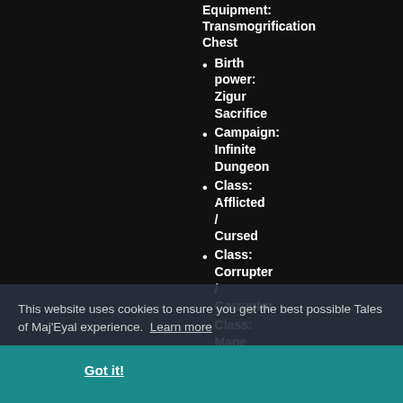Equipment: Transmogrification Chest
Birth power: Zigur Sacrifice
Campaign: Infinite Dungeon
Class: Afflicted / Cursed
Class: Corrupter / Corruptor
Class: Mage / Archmage
Class:
This website uses cookies to ensure you get the best possible Tales of Maj'Eyal experience. Learn more
Got it!